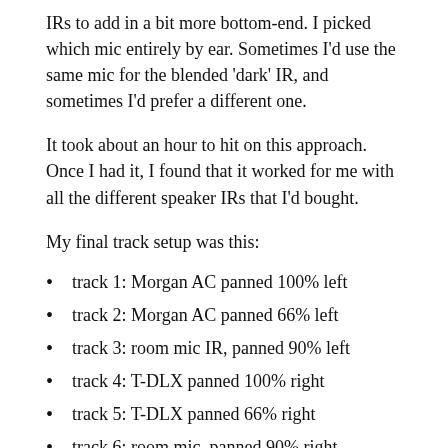IRs to add in a bit more bottom-end. I picked which mic entirely by ear. Sometimes I'd use the same mic for the blended 'dark' IR, and sometimes I'd prefer a different one.
It took about an hour to hit on this approach. Once I had it, I found that it worked for me with all the different speaker IRs that I'd bought.
My final track setup was this:
track 1: Morgan AC panned 100% left
track 2: Morgan AC panned 66% left
track 3: room mic IR, panned 90% left
track 4: T-DLX panned 100% right
track 5: T-DLX panned 66% right
track 6: room mic, panned 90% right